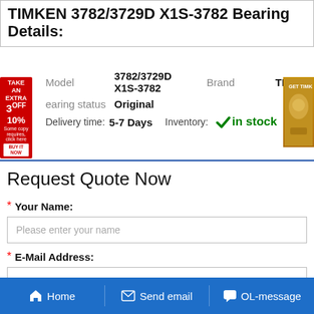TIMKEN 3782/3729D X1S-3782 Bearing Details:
Model: 3782/3729D X1S-3782   Brand: TIMKEN
Bearing status: Original
Delivery time: 5-7 Days   Inventory: in stock
Request Quote Now
* Your Name:
Please enter your name
* E-Mail Address:
Home   Send email   OL-message